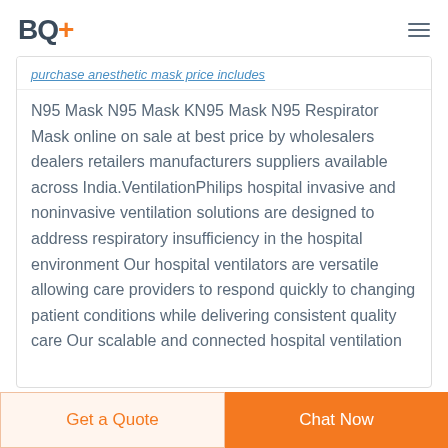BQ+
purchase anesthetic mask price includes
N95 Mask N95 Mask KN95 Mask N95 Respirator Mask online on sale at best price by wholesalers dealers retailers manufacturers suppliers available across India.VentilationPhilips hospital invasive and noninvasive ventilation solutions are designed to address respiratory insufficiency in the hospital environment Our hospital ventilators are versatile allowing care providers to respond quickly to changing patient conditions while delivering consistent quality care Our scalable and connected hospital ventilation
Get a Quote
Chat Now